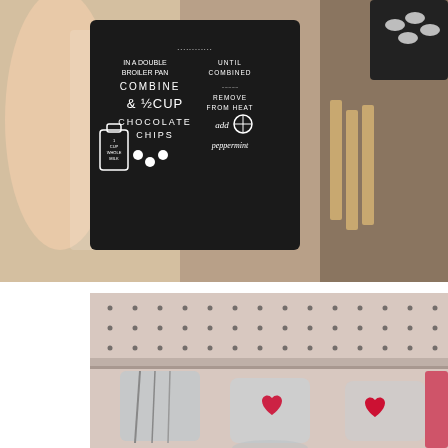[Figure (photo): A hand holding a black chalkboard-style sign with white text showing a hot chocolate recipe: 'In a double broiler pan combine & 1/2 cup chocolate chips until combined remove from heat add peppermint' with illustrations of a milk bottle. Wooden pieces and a black decorative item visible in the background.]
Target Dollar Spot: Valentine's Day Finds
[Figure (photo): A store pegboard display (pink/white dotted background) showing glass mugs or cups with red heart designs, part of Target Dollar Spot Valentine's Day merchandise.]